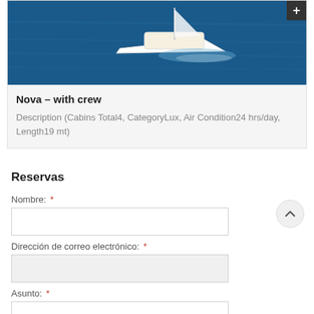[Figure (photo): Aerial view of a white catamaran sailing on deep blue water]
Nova – with crew
Description (Cabins Total4, CategoryLux, Air Condition24 hrs/day, Length19 mt)
Reservas
Nombre: *
Dirección de correo electrónico: *
Asunto: *
Mensaje: *